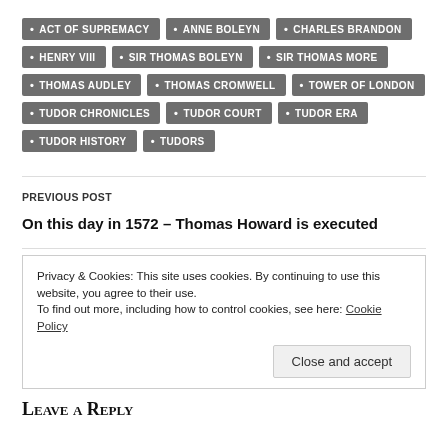ACT OF SUPREMACY
ANNE BOLEYN
CHARLES BRANDON
HENRY VIII
SIR THOMAS BOLEYN
SIR THOMAS MORE
THOMAS AUDLEY
THOMAS CROMWELL
TOWER OF LONDON
TUDOR CHRONICLES
TUDOR COURT
TUDOR ERA
TUDOR HISTORY
TUDORS
PREVIOUS POST
On this day in 1572 – Thomas Howard is executed
Privacy & Cookies: This site uses cookies. By continuing to use this website, you agree to their use.
To find out more, including how to control cookies, see here: Cookie Policy
Close and accept
Leave a Reply